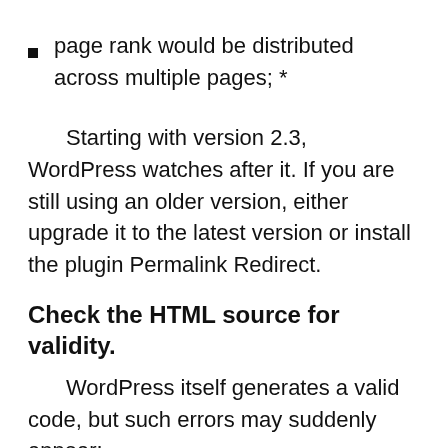page rank would be distributed across multiple pages; *
Starting with version 2.3, WordPress watches after it. If you are still using an older version, either upgrade it to the latest version or install the plugin Permalink Redirect.
Check the HTML source for validity.
WordPress itself generates a valid code, but such errors may suddenly appear:
poorly written plugin or theme (HTML-